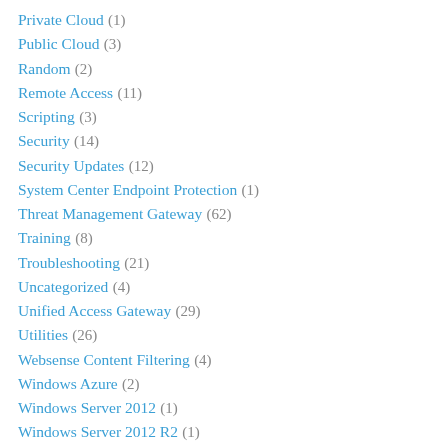Private Cloud (1)
Public Cloud (3)
Random (2)
Remote Access (11)
Scripting (3)
Security (14)
Security Updates (12)
System Center Endpoint Protection (1)
Threat Management Gateway (62)
Training (8)
Troubleshooting (21)
Uncategorized (4)
Unified Access Gateway (29)
Utilities (26)
Websense Content Filtering (4)
Windows Azure (2)
Windows Server 2012 (1)
Windows Server 2012 R2 (1)
Windows Server 2016 (1)